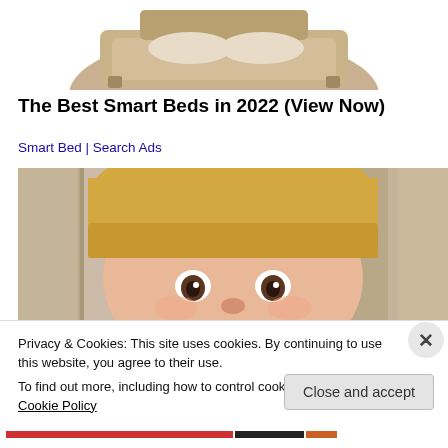[Figure (photo): Partial view of a bed/mattress product (beige/tan colored) from an advertisement, cropped at top]
The Best Smart Beds in 2022 (View Now)
Smart Bed | Search Ads
[Figure (photo): Close-up photo of a young blonde child's face looking directly at the camera, with a rustic white wooden background]
Privacy & Cookies: This site uses cookies. By continuing to use this website, you agree to their use.
To find out more, including how to control cookies, see here: Cookie Policy
Close and accept